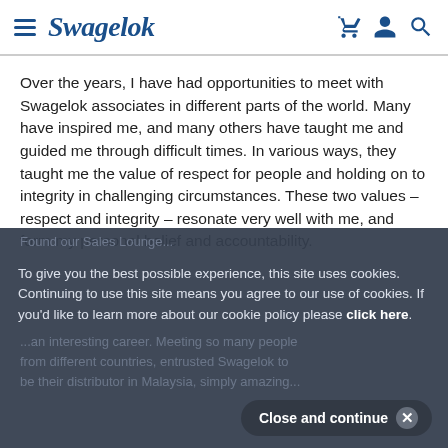Swagelok
Over the years, I have had opportunities to meet with Swagelok associates in different parts of the world. Many have inspired me, and many others have taught me and guided me through difficult times. In various ways, they taught me the value of respect for people and holding on to integrity in challenging circumstances. These two values – respect and integrity – resonate very well with me, and form my personal belief and accountability.
To give you the best possible experience, this site uses cookies. Continuing to use this site means you agree to our use of cookies. If you'd like to learn more about our cookie policy please click here.